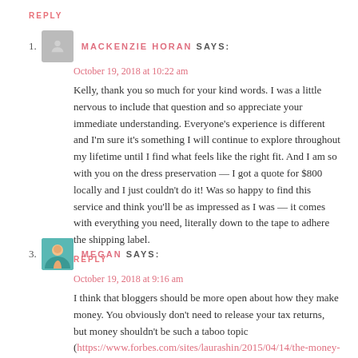REPLY
1. MACKENZIE HORAN SAYS:
October 19, 2018 at 10:22 am
Kelly, thank you so much for your kind words. I was a little nervous to include that question and so appreciate your immediate understanding. Everyone's experience is different and I'm sure it's something I will continue to explore throughout my lifetime until I find what feels like the right fit. And I am so with you on the dress preservation — I got a quote for $800 locally and I just couldn't do it! Was so happy to find this service and think you'll be as impressed as I was — it comes with everything you need, literally down to the tape to adhere the shipping label.
REPLY
3. MEGAN SAYS:
October 19, 2018 at 9:16 am
I think that bloggers should be more open about how they make money. You obviously don't need to release your tax returns, but money shouldn't be such a taboo topic (https://www.forbes.com/sites/laurashin/2015/04/14/the-money-taboo-why-it-exists-who-it-benefits-and-how-to-navigate-it/#2922e2ae2f62). You can research the